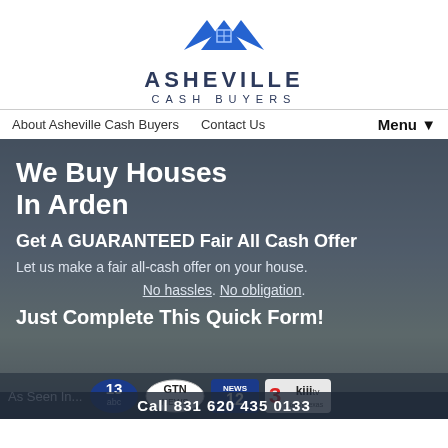[Figure (logo): Asheville Cash Buyers logo with blue house/mountain roof icon, text ASHEVILLE in dark navy bold, CASH BUYERS in small spaced letters below]
About Asheville Cash Buyers   Contact Us   Menu▼
We Buy Houses In Arden
Get A GUARANTEED Fair All Cash Offer
Let us make a fair all-cash offer on your house.
No hassles. No obligation.
Just Complete This Quick Form!
As Seen In...
[Figure (logo): Media logos: 13 abc, GTN NEWS, NEWS 12, 3 kiii tv South Texas]
Call 831 620 435 0133